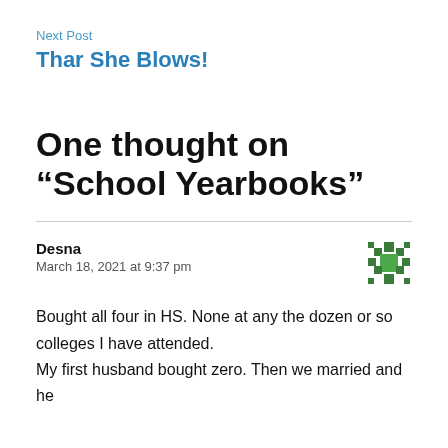Next Post
Thar She Blows!
One thought on “School Yearbooks”
Desna
March 18, 2021 at 9:37 pm
Bought all four in HS. None at any the dozen or so colleges I have attended.
My first husband bought zero. Then we married and he